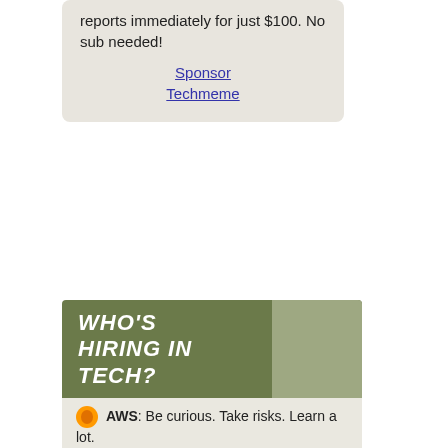reports immediately for just $100. No sub needed!
Sponsor Techmeme
WHO'S HIRING IN TECH?
AWS: Be curious. Take risks. Learn a lot.
Microsoft: Come as you are. Do what you love.
Coalition: Let's solve cyber risk together.
AllTrails: Your guide to the Outdoors.
Automattic: